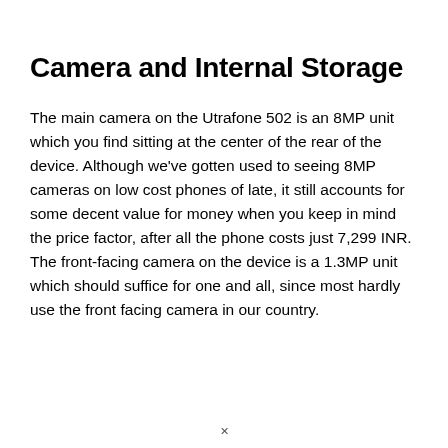Camera and Internal Storage
The main camera on the Utrafone 502 is an 8MP unit which you find sitting at the center of the rear of the device. Although we've gotten used to seeing 8MP cameras on low cost phones of late, it still accounts for some decent value for money when you keep in mind the price factor, after all the phone costs just 7,299 INR. The front-facing camera on the device is a 1.3MP unit which should suffice for one and all, since most hardly use the front facing camera in our country.